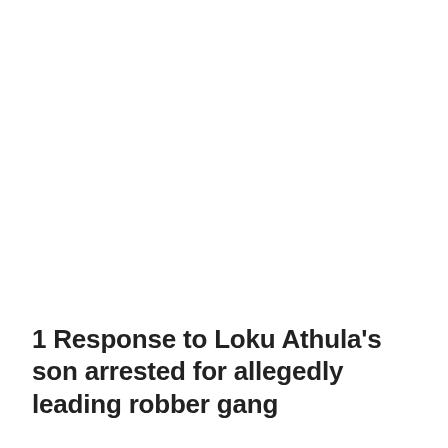1 Response to Loku Athula's son arrested for allegedly leading robber gang